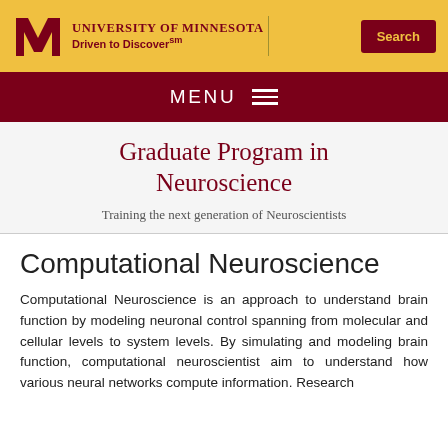University of Minnesota — Driven to Discover℠
MENU
Graduate Program in Neuroscience
Training the next generation of Neuroscientists
Computational Neuroscience
Computational Neuroscience is an approach to understand brain function by modeling neuronal control spanning from molecular and cellular levels to system levels. By simulating and modeling brain function, computational neuroscientist aim to understand how various neural networks compute information. Research